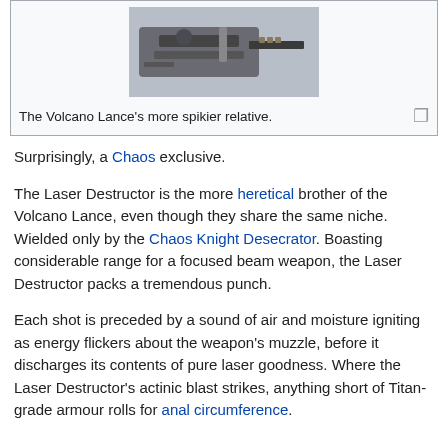[Figure (photo): Photo of a Chaos Laser Destructor weapon model, showing a large mechanical cannon-like weapon with spikes and industrial detailing.]
The Volcano Lance's more spikier relative.
Surprisingly, a Chaos exclusive.
The Laser Destructor is the more heretical brother of the Volcano Lance, even though they share the same niche. Wielded only by the Chaos Knight Desecrator. Boasting considerable range for a focused beam weapon, the Laser Destructor packs a tremendous punch.
Each shot is preceded by a sound of air and moisture igniting as energy flickers about the weapon's muzzle, before it discharges its contents of pure laser goodness. Where the Laser Destructor's actinic blast strikes, anything short of Titan-grade armour rolls for anal circumference.